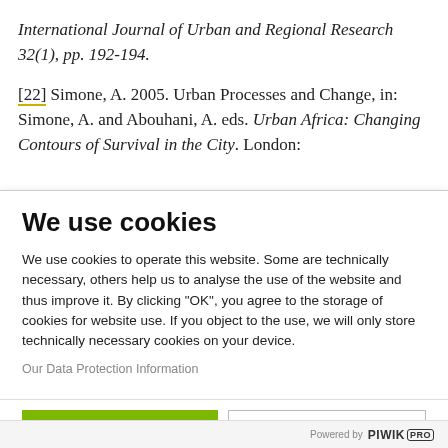International Journal of Urban and Regional Research 32(1), pp. 192-194.
[22] Simone, A. 2005. Urban Processes and Change, in: Simone, A. and Abouhani, A. eds. Urban Africa: Changing Contours of Survival in the City. London:
We use cookies
We use cookies to operate this website. Some are technically necessary, others help us to analyse the use of the website and thus improve it. By clicking "OK", you agree to the storage of cookies for website use. If you object to the use, we will only store technically necessary cookies on your device.
Our Data Protection Information
OK
No, thank you
Powered by PIWIK PRO